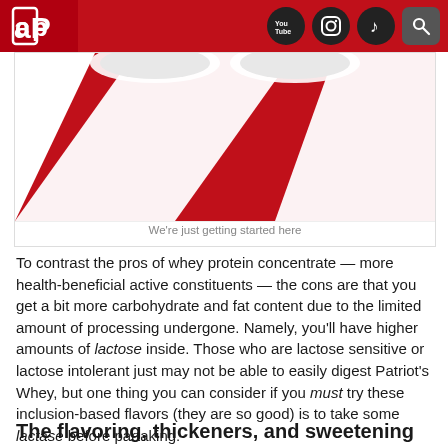[Figure (photo): Product photo with red and white diagonal stripes, showing circular supplement containers from above. Caption reads: We're just getting started here]
We're just getting started here
To contrast the pros of whey protein concentrate — more health-beneficial active constituents — the cons are that you get a bit more carbohydrate and fat content due to the limited amount of processing undergone. Namely, you'll have higher amounts of lactose inside. Those who are lactose sensitive or lactose intolerant just may not be able to easily digest Patriot's Whey, but one thing you can consider if you must try these inclusion-based flavors (they are so good) is to take some lactase before partaking.
Overall, if you can handle whey concentrate, we do recommend it – there's less processing and it's also less expensive because of that.
The flavoring, thickeners, and sweetening